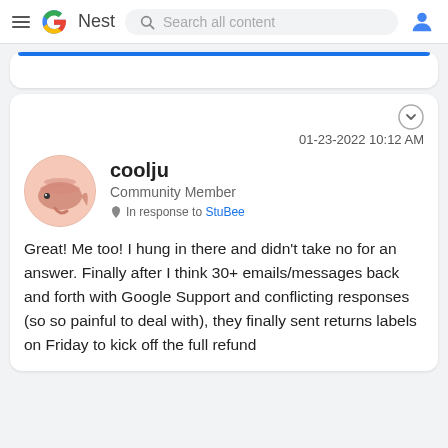Google Nest — Search all content
01-23-2022 10:12 AM
coolju
Community Member
In response to StuBee
Great!  Me too!   I hung in there and didn't take no for an answer.  Finally after I think 30+ emails/messages back and forth with Google Support and conflicting responses (so so painful to deal with), they finally sent returns labels on Friday to kick off the full refund